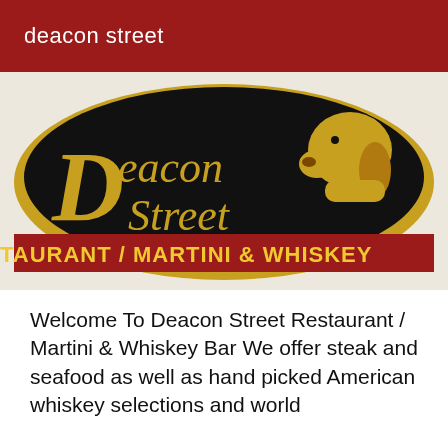deacon street
[Figure (logo): Deacon Street Restaurant / Martini & Whiskey Bar logo: oval black background with gold border, gold script text 'Deacon Street' with a golden Labrador dog silhouette, and a red banner at the bottom reading 'TAURANT / MARTINI & WHISKEY']
Welcome To Deacon Street Restaurant / Martini & Whiskey Bar We offer steak and seafood as well as hand picked American whiskey selections and world